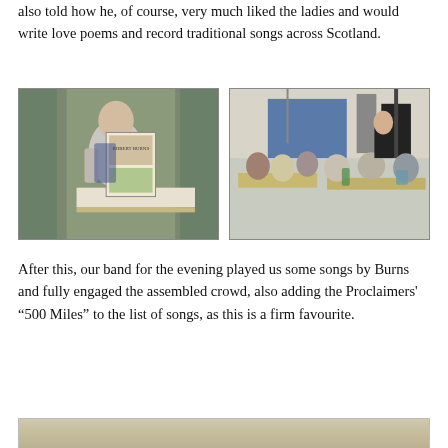also told how he, of course, very much liked the ladies and would write love poems and record traditional songs across Scotland.
[Figure (photo): Person holding a Robert Burns poster/tea towel at a podium with green curtains behind]
[Figure (photo): Audience seated at tables in a hall with a performer visible at the back]
After this, our band for the evening played us some songs by Burns and fully engaged the assembled crowd, also adding the Proclaimers' “500 Miles” to the list of songs, as this is a firm favourite.
[Figure (photo): Partial view of a light-coloured surface or stage area]